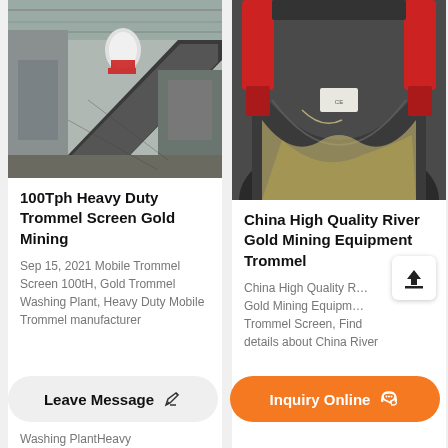[Figure (photo): Industrial mining facility with conveyor belts and machinery inside a large warehouse, showing a trommel screen setup.]
100Tph Heavy Duty Trommel Screen Gold Mining
Sep 15, 2021 Mobile Trommel Screen 100tH, Gold Trommel Washing Plant, Heavy Duty Mobile Trommel manufacturer
[Figure (photo): Close-up of a large industrial drum/trommel with red hydraulic cylinders and a dark metal bowl, gold mining equipment.]
China High Quality River Gold Mining Equipment Trommel
China High Quality River Gold Mining Equipment Trommel Screen, Find details about China River
Washing PlantHeavy